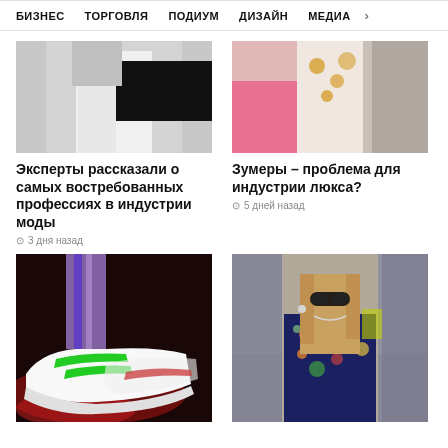БИЗНЕС  ТОРГОВЛЯ  ПОДИУМ  ДИЗАЙН  МЕДИА  >
[Figure (photo): Fashion photo showing person in white outfit with green stripe detail]
Эксперты рассказали о самых востребованных профессиях в индустрии моды
3 дня назад
[Figure (photo): Fashion photo showing models in pink and patterned outfits]
Зумеры – проблема для индустрии люкса?
5 дней назад
[Figure (photo): Close-up of white sneakers with green details on dark red-lit floor]
[Figure (photo): Fashion model in sunglasses wearing floral top outdoors]